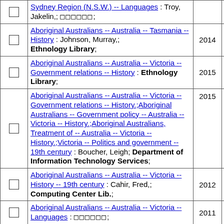|  | Description | Year | Count |
| --- | --- | --- | --- |
| ☐ | Sydney Region (N.S.W.) -- Languages : Troy, Jakelin,; □□□□□□; |  | 1 |
| ☐ | Aboriginal Australians -- Australia -- Tasmania -- History : Johnson, Murray,; Ethnology Library; | 2014 | 1 |
| ☐ | Aboriginal Australians -- Australia -- Victoria -- Government relations -- History : Ethnology Library; | 2015 | 1 |
| ☐ | Aboriginal Australians -- Australia -- Victoria -- Government relations -- History.;Aboriginal Australians -- Government policy -- Australia -- Victoria -- History.;Aboriginal Australians, Treatment of -- Australia -- Victoria -- History.;Victoria -- Politics and government -- 19th century : Boucher, Leigh; Department of Information Technology Services; | 2015 | 1 |
| ☐ | Aboriginal Australians -- Australia -- Victoria -- History -- 19th century : Cahir, Fred,; Computing Center Lib.; | 2012 | 1 |
| ☐ | Aboriginal Australians -- Australia -- Victoria -- Languages : □□□□□□; | 2011 | 1 |
| ☐ | Aboriginal Australians -- Australia | 2012 |  |